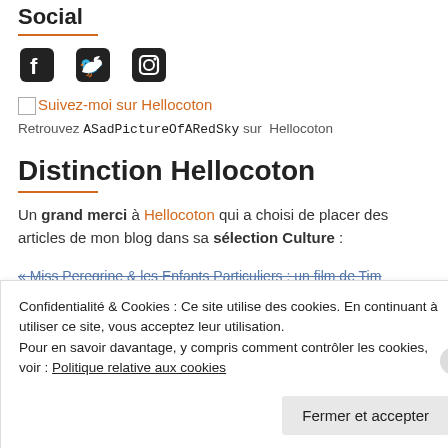Social
[Figure (illustration): Social media icons: Facebook, Twitter, Instagram]
Suivez-moi sur Hellocoton
Retrouvez ASadPictureOfARedSky sur Hellocoton
Distinction Hellocoton
Un grand merci à Hellocoton qui a choisi de placer des articles de mon blog dans sa sélection Culture :
« Miss Peregrine & les Enfants Particuliers : un film de Tim
Confidentialité & Cookies : Ce site utilise des cookies. En continuant à utiliser ce site, vous acceptez leur utilisation. Pour en savoir davantage, y compris comment contrôler les cookies, voir : Politique relative aux cookies
Fermer et accepter